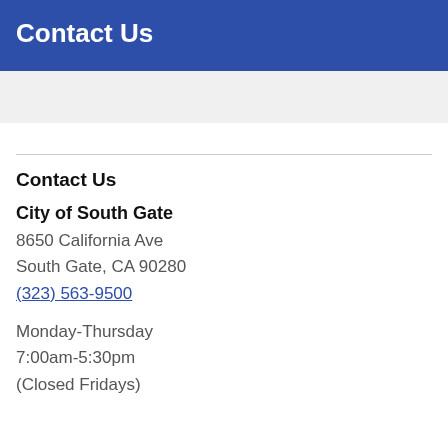Contact Us
Contact Us
City of South Gate
8650 California Ave
South Gate, CA 90280
(323) 563-9500
Monday-Thursday
7:00am-5:30pm
(Closed Fridays)